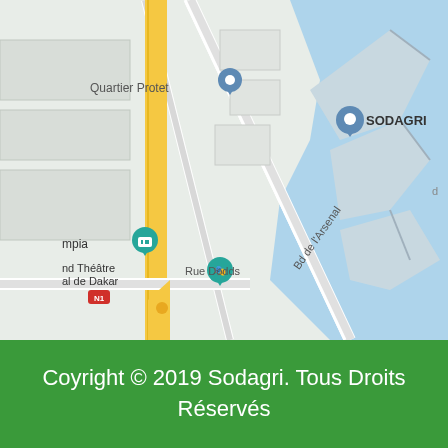[Figure (map): Google Maps screenshot showing area around SODAGRI in Dakar, Senegal. Shows Quartier Protet, Grand Théâtre National de Dakar, Bd de l'Arsenal, Rue Dodds, with blue water/port areas on the right side. Route N1 visible with yellow road markings. Various map pins including teal/blue location markers for SODAGRI and other locations.]
Coyright © 2019 Sodagri. Tous Droits Réservés